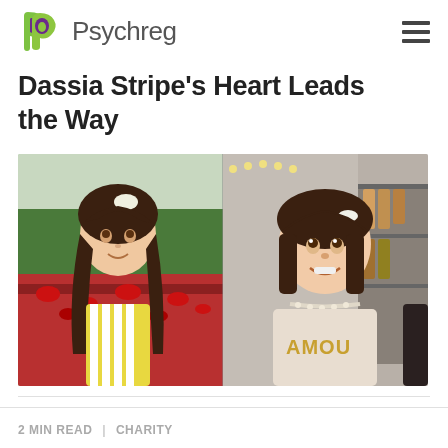Psychreg
Dassia Stripe's Heart Leads the Way
[Figure (photo): Two side-by-side photos of a young girl: left photo shows her with long dark hair, wearing a yellow striped top, standing in a field of red poppies; right photo shows her with shorter dark hair, wearing a cream 'LAMOUR' top with a pearl necklace, sitting in what appears to be a hair salon.]
2 MIN READ | CHARITY